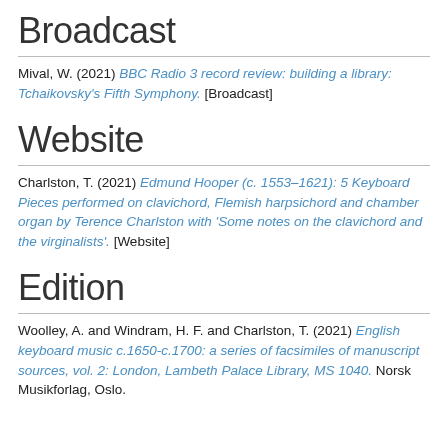Broadcast
Mival, W. (2021) BBC Radio 3 record review: building a library: Tchaikovsky's Fifth Symphony. [Broadcast]
Website
Charlston, T. (2021) Edmund Hooper (c. 1553–1621): 5 Keyboard Pieces performed on clavichord, Flemish harpsichord and chamber organ by Terence Charlston with 'Some notes on the clavichord and the virginalists'. [Website]
Edition
Woolley, A. and Windram, H. F. and Charlston, T. (2021) English keyboard music c.1650-c.1700: a series of facsimiles of manuscript sources, vol. 2: London, Lambeth Palace Library, MS 1040. Norsk Musikforlag, Oslo.